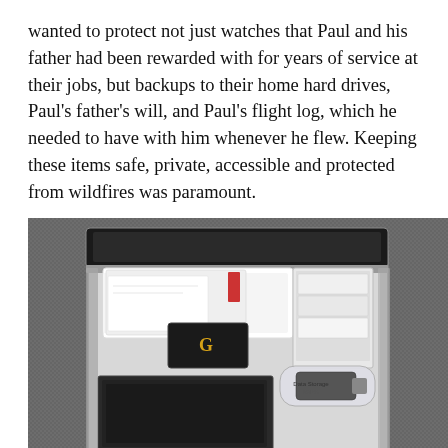wanted to protect not just watches that Paul and his father had been rewarded with for years of service at their jobs, but backups to their home hard drives, Paul's father's will, and Paul's flight log, which he needed to have with him whenever he flew. Keeping these items safe, private, accessible and protected from wildfires was paramount.
[Figure (photo): An open rectangular metal safe/box sitting on a dark grey carpeted surface, containing various items including what appears to be documents, a small black device with a gold logo, a hard drive, and a USB drive in a clear package labeled 'Data Storage'.]